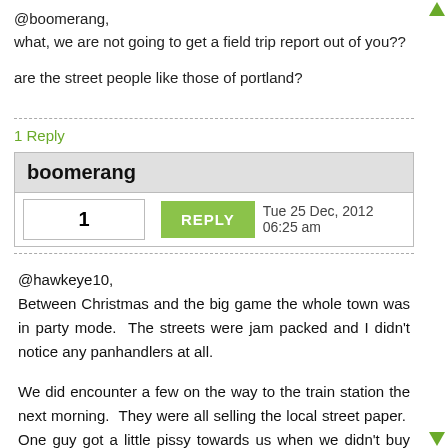@boomerang,
what, we are not going to get a field trip report out of you??
are the street people like those of portland?
1 Reply
boomerang
1   REPLY   Tue 25 Dec, 2012 06:25 am
@hawkeye10,
Between Christmas and the big game the whole town was in party mode. The streets were jam packed and I didn't notice any panhandlers at all.
We did encounter a few on the way to the train station the next morning. They were all selling the local street paper. One guy got a little pissy towards us when we didn't buy one but it wasn't a big deal.